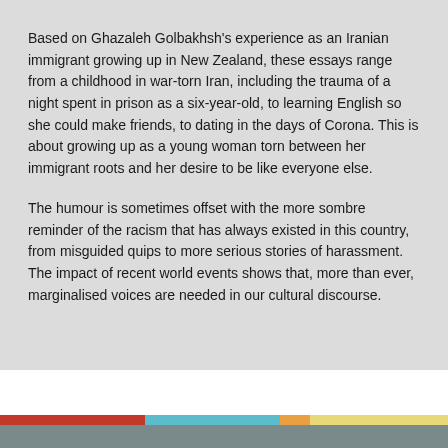Based on Ghazaleh Golbakhsh's experience as an Iranian immigrant growing up in New Zealand, these essays range from a childhood in war-torn Iran, including the trauma of a night spent in prison as a six-year-old, to learning English so she could make friends, to dating in the days of Corona. This is about growing up as a young woman torn between her immigrant roots and her desire to be like everyone else.
The humour is sometimes offset with the more sombre reminder of the racism that has always existed in this country, from misguided quips to more serious stories of harassment. The impact of recent world events shows that, more than ever, marginalised voices are needed in our cultural discourse.